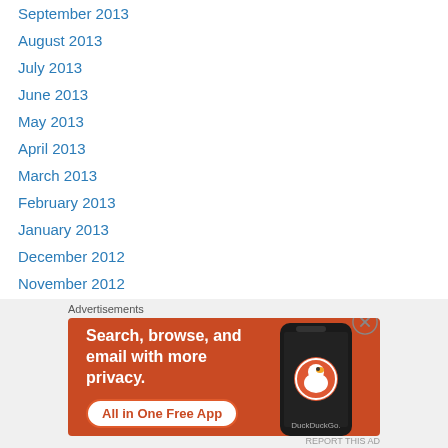September 2013
August 2013
July 2013
June 2013
May 2013
April 2013
March 2013
February 2013
January 2013
December 2012
November 2012
October 2012
September 2012
August 2012
[Figure (screenshot): DuckDuckGo advertisement banner with orange background. Text reads: Search, browse, and email with more privacy. All in One Free App. Shows DuckDuckGo logo on a phone.]